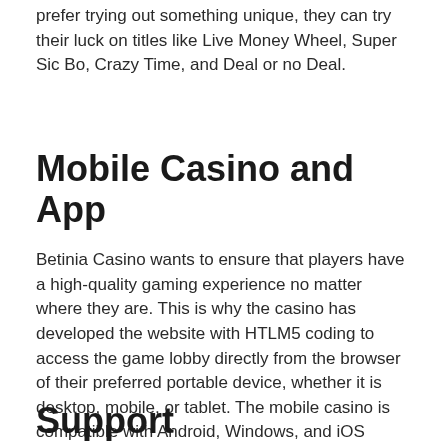prefer trying out something unique, they can try their luck on titles like Live Money Wheel, Super Sic Bo, Crazy Time, and Deal or no Deal.
Mobile Casino and App
Betinia Casino wants to ensure that players have a high-quality gaming experience no matter where they are. This is why the casino has developed the website with HTLM5 coding to access the game lobby directly from the browser of their preferred portable device, whether it is desktop, mobile, or tablet. The mobile casino is compatible with Android, Windows, and iOS operating systems.
Support